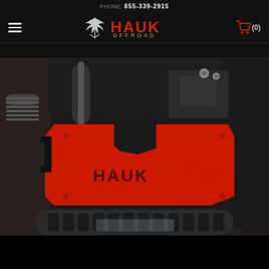PHONE: 855-339-2915
[Figure (logo): Hauk Offroad logo with eagle and red text]
[Figure (photo): Red Hauk Offroad skid plate mounted under a vehicle chassis, viewed from below, with off-road tire visible]